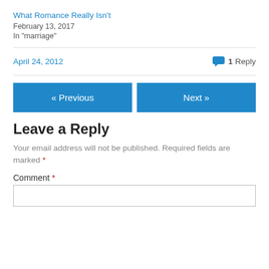What Romance Really Isn't
February 13, 2017
In "marriage"
April 24, 2012
1 Reply
« Previous
Next »
Leave a Reply
Your email address will not be published. Required fields are marked *
Comment *